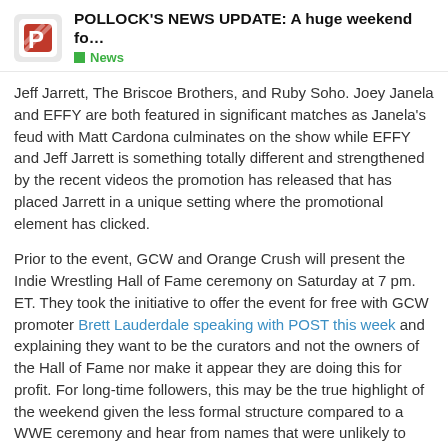POLLOCK'S NEWS UPDATE: A huge weekend fo...
Jeff Jarrett, The Briscoe Brothers, and Ruby Soho. Joey Janela and EFFY are both featured in significant matches as Janela's feud with Matt Cardona culminates on the show while EFFY and Jeff Jarrett is something totally different and strengthened by the recent videos the promotion has released that has placed Jarrett in a unique setting where the promotional element has clicked.
Prior to the event, GCW and Orange Crush will present the Indie Wrestling Hall of Fame ceremony on Saturday at 7 pm. ET. They took the initiative to offer the event for free with GCW promoter Brett Lauderdale speaking with POST this week and explaining they want to be the curators and not the owners of the Hall of Fame nor make it appear they are doing this for profit. For long-time followers, this may be the true highlight of the weekend given the less formal structure compared to a WWE ceremony and hear from names that were unlikely to ever receive this type of spotlight and attention. Dave Prazak (inducted by CM Punk), Jerry [Helms?], Homicide (Chris Dickinson),
1 / 1